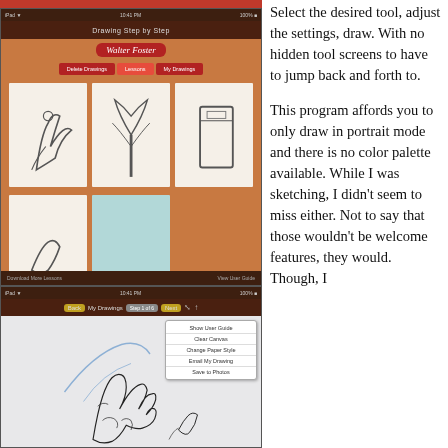[Figure (screenshot): iPad app screenshot showing 'Drawing Step by Step' app gallery with Walter Foster logo, navigation tabs, and drawing cards on wood-textured background]
[Figure (screenshot): iPad app screenshot showing a drawing canvas with a flower sketch in progress and a popup menu with options: Show User Guide, Clear Canvas, Change Paper Style, Email My Drawing, Save to Photos]
Select the desired tool, adjust the settings, draw. With no hidden tool screens to have to jump back and forth to.
This program affords you to only draw in portrait mode and there is no color palette available. While I was sketching, I didn't seem to miss either. Not to say that those wouldn't be welcome features, they would. Though, I